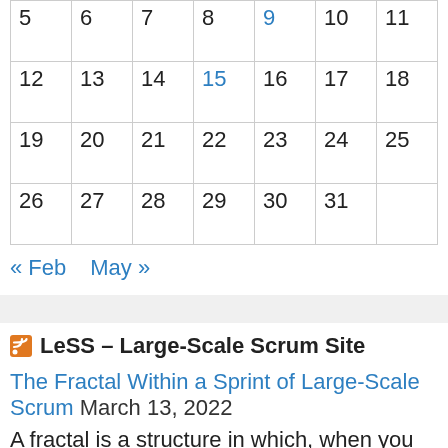| 5 | 6 | 7 | 8 | 9 | 10 | 11 |
| 12 | 13 | 14 | 15 | 16 | 17 | 18 |
| 19 | 20 | 21 | 22 | 23 | 24 | 25 |
| 26 | 27 | 28 | 29 | 30 | 31 |  |
« Feb   May »
RSS LeSS – Large-Scale Scrum Site
The Fractal Within a Sprint of Large-Scale Scrum March 13, 2022
A fractal is a structure in which, when you look closer, you will discover self-similarity at